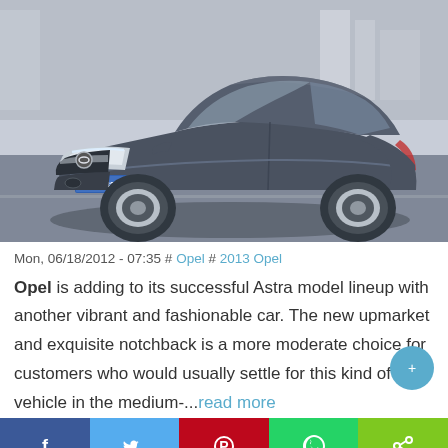[Figure (photo): A dark grey Opel Astra sedan/notchback driving on a road, shot from a front-side angle. The car has a license plate reading '65 LS 384'. Background shows blurred buildings and architecture.]
Mon, 06/18/2012 - 07:35 # Opel # 2013 Opel
Opel is adding to its successful Astra model lineup with another vibrant and fashionable car. The new upmarket and exquisite notchback is a more moderate choice for customers who would usually settle for this kind of vehicle in the medium-...read more